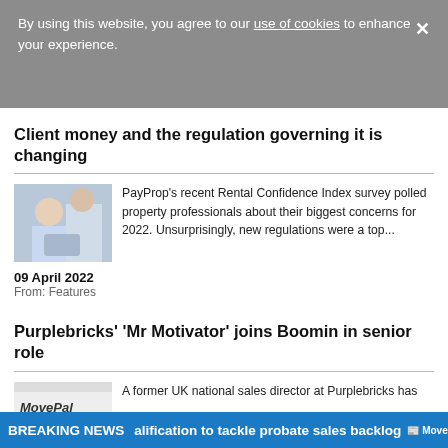By using this website, you agree to our use of cookies to enhance your experience.
Client money and the regulation governing it is changing
[Figure (photo): Photo of a woman smiling, working on a laptop with another person in the foreground]
PayProp's recent Rental Confidence Index survey polled property professionals about their biggest concerns for 2022. Unsurprisingly, new regulations were a top...
09 April 2022
From: Features
Purplebricks' 'Mr Motivator' joins Boomin in senior role
[Figure (logo): MovePal logo]
A former UK national sales director at Purplebricks has
BREAKING NEWS  qualification to tackle probate sales backlog  Move